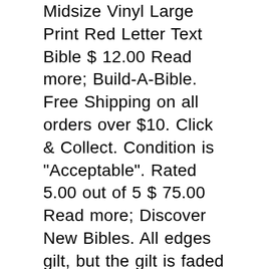Midsize Vinyl Large Print Red Letter Text Bible $ 12.00 Read more; Build-A-Bible. Free Shipping on all orders over $10. Click & Collect. Condition is "Acceptable". Rated 5.00 out of 5 $ 75.00 Read more; Discover New Bibles. All edges gilt, but the gilt is faded and rubbed. Scholars agree that the Bible is its own best commentary, and the Thompson® Chain-Reference® Study Bible is built on this premise. Click & Collect. New Life Of Albany Ga. 4,014 views Thompson was born in 1858, in Elmira, New York, ... Thompson Chain-Reference Bible King James Version/Handy Size/Red Letter/Black/Deluxe, Leather/Indexed by , June 1993, Kirkbride Bible Company edition, Leather-bound in English - Blk/Hndy edition Related products. Red letter Edition. Mar 2, 2017 - Explore Katylynn Morley's board "thompson chain reference bible" on Pinterest. Buy KJV Thompson Chain